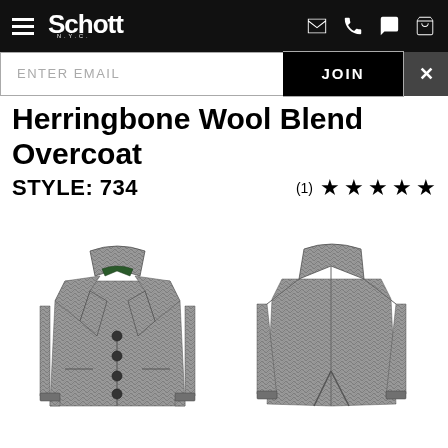Schott N.Y.C.
ENTER EMAIL — JOIN
Herringbone Wool Blend Overcoat
STYLE: 734   (1) ★★★★★
[Figure (photo): Front and back views of a grey herringbone wool blend overcoat on a white background]